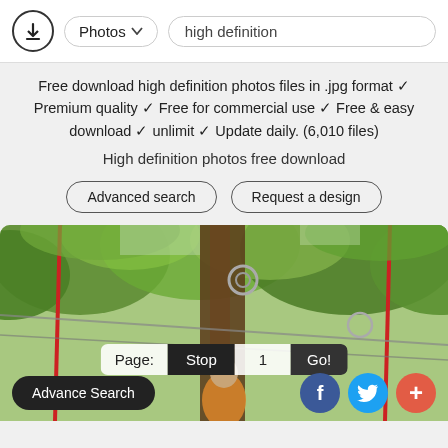[Figure (screenshot): Top navigation bar with download icon, Photos dropdown, and 'high definition' search input]
Free download high definition photos files in .jpg format ✓ Premium quality ✓ Free for commercial use ✓ Free & easy download ✓ unlimit ✓ Update daily. (6,010 files)
High definition photos free download
[Figure (screenshot): Two outline buttons: 'Advanced search' and 'Request a design']
[Figure (photo): Photo of a person in an outdoor adventure ropes course among trees with ropes and metal rings visible]
Page: Stop 1 Go!
Advance Search